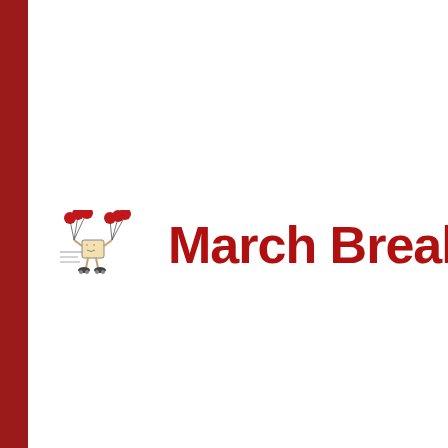[Figure (logo): March Break Camp logo: cartoon character (box-headed figure on roller skates carrying balloons) with red bold text reading 'March Break Ca...' (partially cropped)]